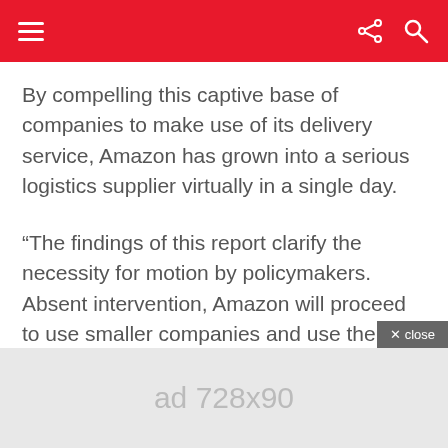Navigation header bar with hamburger menu, share icon, and search icon
By compelling this captive base of companies to make use of its delivery service, Amazon has grown into a serious logistics supplier virtually in a single day.
“The findings of this report clarify the necessity for motion by policymakers. Absent intervention, Amazon will proceed to use smaller companies and use the income it extracts from them to spin its monopoly flywheel, pulling an ever bigger share of our economic system beneath its management,” Mitchell stated.
[Figure (other): Ad banner 728x90]
ad 728x90